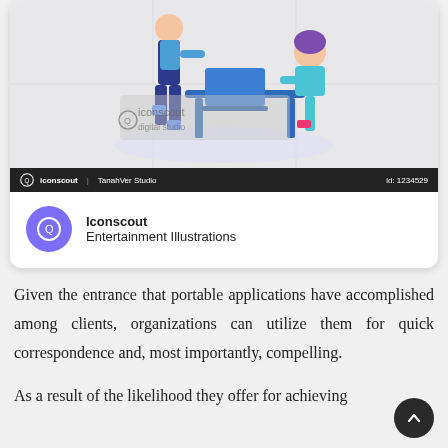[Figure (screenshot): Screenshot of Iconscout website showing illustration of two people at a desk, with a dark footer bar showing 'iconscout | TanahVer Studio' and 'id: 1234529', and a card below with Iconscout logo circle and text 'Iconscout Entertainment Illustrations']
Given the entrance that portable applications have accomplished among clients, organizations can utilize them for quick correspondence and, most importantly, compelling.
As a result of the likelihood they offer for achieving